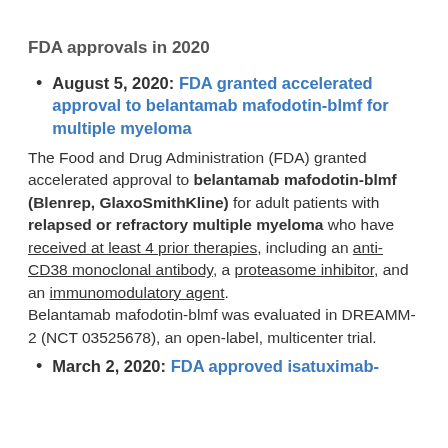FDA approvals in 2020
August 5, 2020: FDA granted accelerated approval to belantamab mafodotin-blmf for multiple myeloma
The Food and Drug Administration (FDA) granted accelerated approval to belantamab mafodotin-blmf (Blenrep, GlaxoSmithKline) for adult patients with relapsed or refractory multiple myeloma who have received at least 4 prior therapies, including an anti-CD38 monoclonal antibody, a proteasome inhibitor, and an immunomodulatory agent. Belantamab mafodotin-blmf was evaluated in DREAMM-2 (NCT 03525678), an open-label, multicenter trial.
March 2, 2020: FDA approved isatuximab-irfc for multiple myeloma